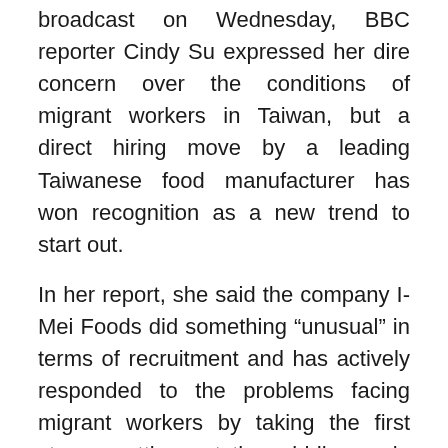broadcast on Wednesday, BBC reporter Cindy Su expressed her dire concern over the conditions of migrant workers in Taiwan, but a direct hiring move by a leading Taiwanese food manufacturer has won recognition as a new trend to start out.
In her report, she said the company I-Mei Foods did something “unusual” in terms of recruitment and has actively responded to the problems facing migrant workers by taking the first step – cutting out the middlemen in the process of hiring.
She continued to say that the company went to the Philippines, to the southern city of Davao and the capital Manila recently to interview hundreds of job applicants, migrant workers mainly, to fill 200 positions in Taiwan in their factories.
“What made it unusual is that t...